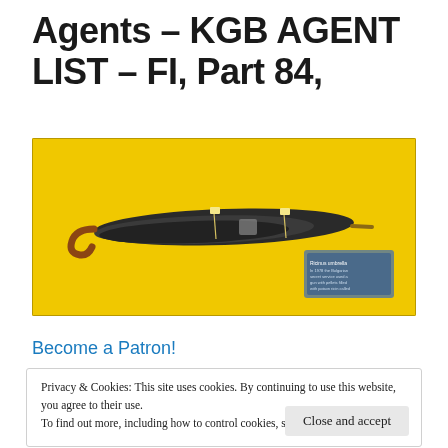Agents – KGB AGENT LIST – FI, Part 84,
[Figure (photo): A folded black umbrella displayed horizontally against a bright yellow background inside a glass exhibit case. A small descriptive label card is visible on the right side of the display.]
Become a Patron!
Privacy & Cookies: This site uses cookies. By continuing to use this website, you agree to their use.
To find out more, including how to control cookies, see here: Cookie Policy
Close and accept